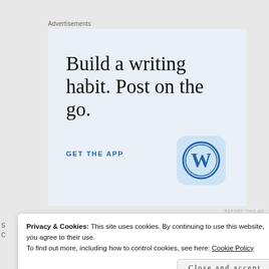Advertisements
[Figure (illustration): WordPress advertisement with text 'Build a writing habit. Post on the go.' and 'GET THE APP' call to action with WordPress logo]
REPORT THIS AD
Privacy & Cookies: This site uses cookies. By continuing to use this website, you agree to their use.
To find out more, including how to control cookies, see here: Cookie Policy
Close and accept